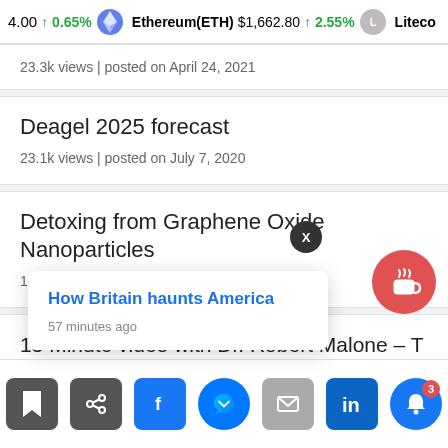4.00 ↑ 0.65% Ethereum(ETH) $1,662.80 ↑ 2.55% Liteco
23.3k views | posted on April 24, 2021
Deagel 2025 forecast
23.1k views | posted on July 7, 2020
Detoxing from Graphene Oxide Nanoparticles
12.7k views | posted on October 7, 2021
15 Minute video with Dr. Robert Malone – T inventor of the mRNA Vaccines
5k views | posted on June 15, 2021
How Britain haunts America
57 minutes ago